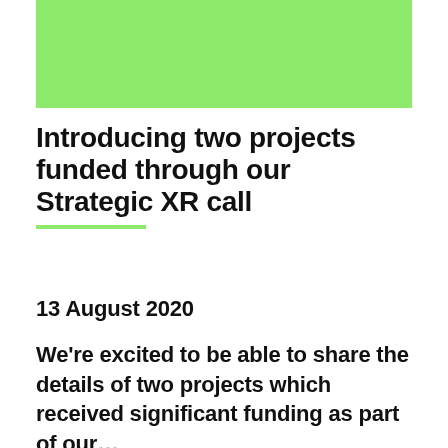[Figure (other): Light green rectangular banner at the top of the page]
Introducing two projects funded through our Strategic XR call
13 August 2020
We're excited to be able to share the details of two projects which received significant funding as part of our…